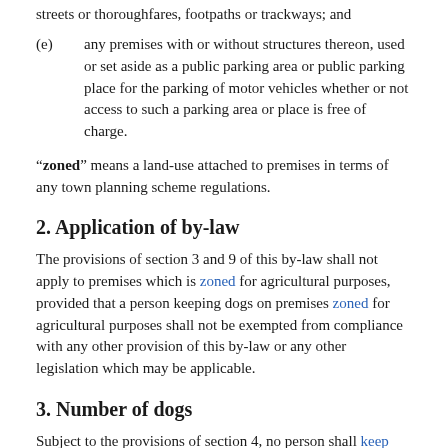streets or thoroughfares, footpaths or trackways; and
(e)  any premises with or without structures thereon, used or set aside as a public parking area or public parking place for the parking of motor vehicles whether or not access to such a parking area or place is free of charge.
"zoned" means a land-use attached to premises in terms of any town planning scheme regulations.
2. Application of by-law
The provisions of section 3 and 9 of this by-law shall not apply to premises which is zoned for agricultural purposes, provided that a person keeping dogs on premises zoned for agricultural purposes shall not be exempted from compliance with any other provision of this by-law or any other legislation which may be applicable.
3. Number of dogs
Subject to the provisions of section 4, no person shall keep more than two dogs on any erf or premises without the prior